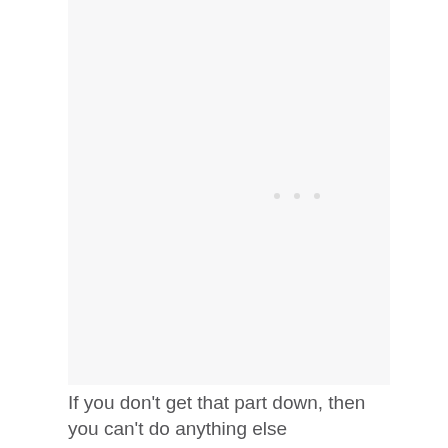[Figure (other): A mostly blank light gray/white rectangular area with faint three dots visible near the center, suggesting a loading or placeholder image panel.]
If you don’t get that part down, then you can’t do anything else